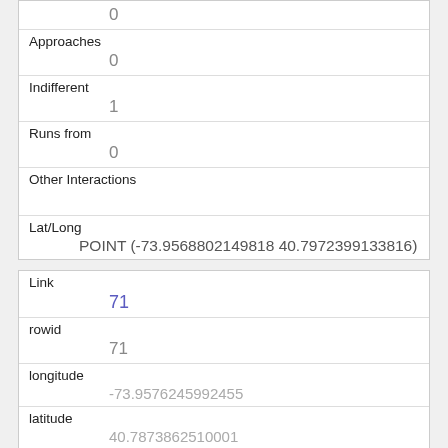| Approaches | 0 |
| Indifferent | 1 |
| Runs from | 0 |
| Other Interactions |  |
| Lat/Long | POINT (-73.9568802149818 40.7972399133816) |
| Link | 71 |
| rowid | 71 |
| longitude | -73.9576245992455 |
| latitude | 40.7873862510001 |
| Unique Squirrel ID |  |